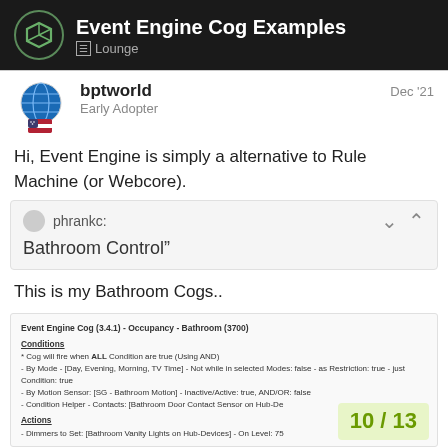Event Engine Cog Examples — Lounge
bptworld
Early Adopter
Dec '21
Hi, Event Engine is simply a alternative to Rule Machine (or Webcore).
phrankc:
Bathroom Control"
This is my Bathroom Cogs..
[Figure (screenshot): Event Engine Cog (3.4.1) - Occupancy - Bathroom (3700) showing Conditions and Actions configuration text, with a page number badge '10 / 13' in the lower right corner.]